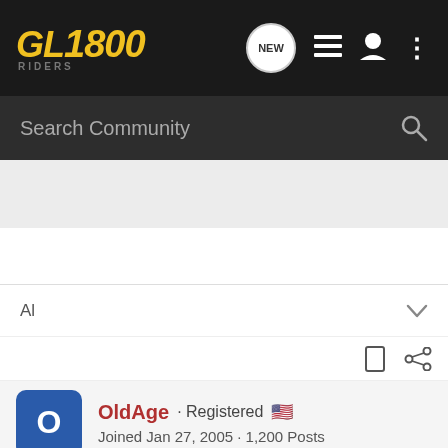GL1800 Riders - Navigation bar with NEW, list, user, and menu icons
Search Community
AI
OldAge · Registered
Joined Jan 27, 2005 · 1,200 Posts
Discussion Starter · #4 · May 14, 2022